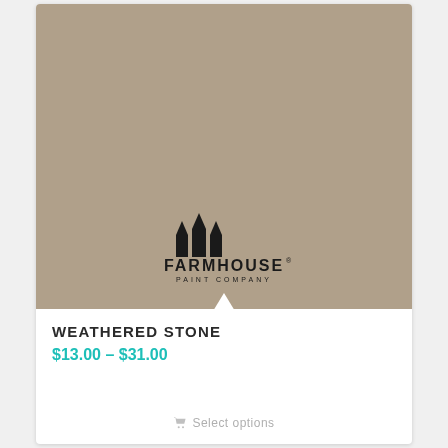[Figure (illustration): Warm taupe/greige paint color swatch filling the upper portion of a product card, with the Farmhouse Paint Company logo centered near the bottom of the swatch. The logo shows three house-silhouette shapes above the text 'FARMHOUSE' in large letters and 'PAINT COMPANY' in small spaced capitals, with a registered trademark symbol.]
WEATHERED STONE
$13.00 – $31.00
Select options